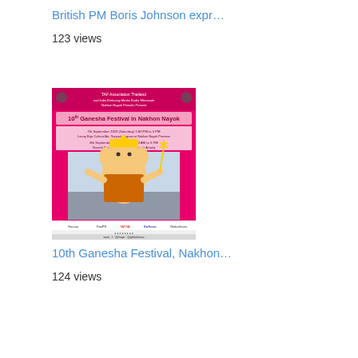British PM Boris Johnson expr…
123 views
[Figure (photo): Event poster for the 10th Ganesha Festival in Nakhon Nayok featuring a large Ganesha statue on a pink background with festival details and sponsor logos]
10th Ganesha Festival, Nakhon…
124 views